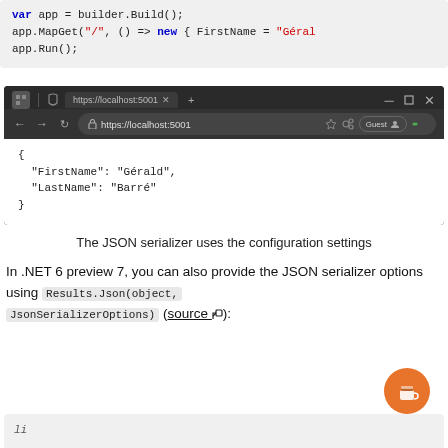[Figure (screenshot): Code block showing: var app = builder.Build(); app.MapGet("/", () => new { FirstName = "Géral... app.Run();]
[Figure (screenshot): Browser screenshot showing https://localhost:5001 with JSON output: { "FirstName": "Gérald", "LastName": "Barré" }]
The JSON serializer uses the configuration settings
In .NET 6 preview 7, you can also provide the JSON serializer options using Results.Json(object, JsonSerializerOptions) (source):
[Figure (screenshot): Bottom code block (partially visible)]